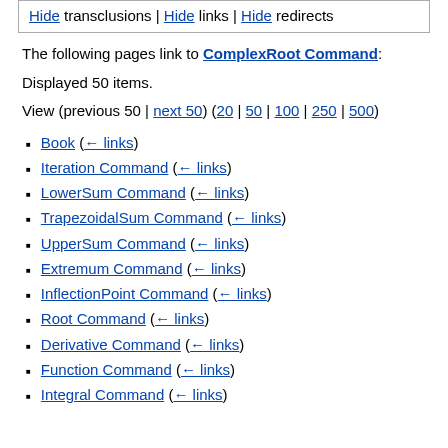Hide transclusions | Hide links | Hide redirects
The following pages link to ComplexRoot Command:
Displayed 50 items.
View (previous 50 | next 50) (20 | 50 | 100 | 250 | 500)
Book (← links)
Iteration Command (← links)
LowerSum Command (← links)
TrapezoidalSum Command (← links)
UpperSum Command (← links)
Extremum Command (← links)
InflectionPoint Command (← links)
Root Command (← links)
Derivative Command (← links)
Function Command (← links)
Integral Command (← links)